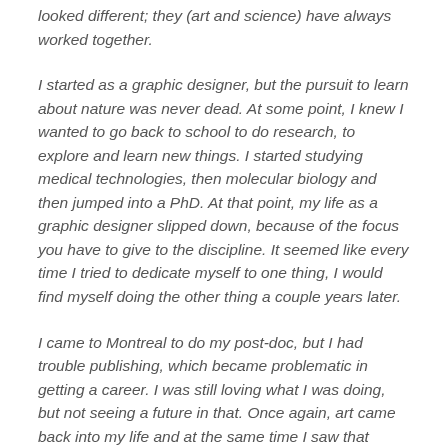looked different; they (art and science) have always worked together.
I started as a graphic designer, but the pursuit to learn about nature was never dead. At some point, I knew I wanted to go back to school to do research, to explore and learn new things. I started studying medical technologies, then molecular biology and then jumped into a PhD. At that point, my life as a graphic designer slipped down, because of the focus you have to give to the discipline. It seemed like every time I tried to dedicate myself to one thing, I would find myself doing the other thing a couple years later.
I came to Montreal to do my post-doc, but I had trouble publishing, which became problematic in getting a career. I was still loving what I was doing, but not seeing a future in that. Once again, art came back into my life and at the same time I saw that science was